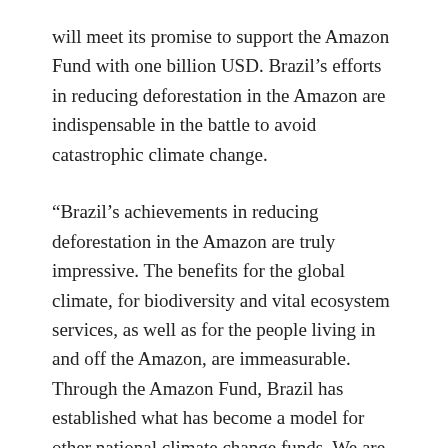will meet its promise to support the Amazon Fund with one billion USD. Brazil's efforts in reducing deforestation in the Amazon are indispensable in the battle to avoid catastrophic climate change.
“Brazil’s achievements in reducing deforestation in the Amazon are truly impressive. The benefits for the global climate, for biodiversity and vital ecosystem services, as well as for the people living in and off the Amazon, are immeasurable. Through the Amazon Fund, Brazil has established what has become a model for other national climate change funds. We are proud to be partnering with Brazil in this effort”, says Sundtoft.
The Amazon Fund was launched by Brazil in 2008. The Fund is open for contributions from countries, private